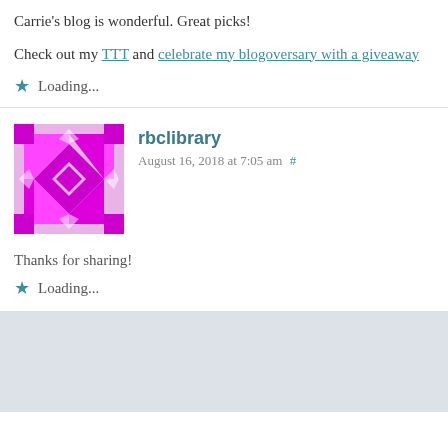Carrie's blog is wonderful. Great picks!
Check out my TTT and celebrate my blogoversary with a giveaway
Loading...
rbclibrary
August 16, 2018 at 7:05 am #
Thanks for sharing!
Loading...